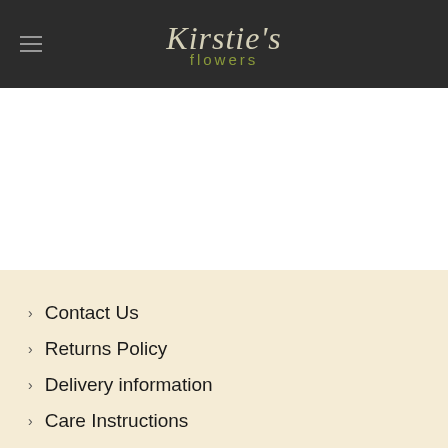Kirstie's flowers
Contact Us
Returns Policy
Delivery information
Care Instructions
Gift Vouchers